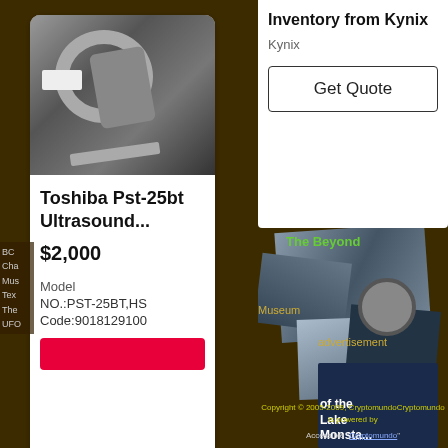Inventory from Kynix
Kynix
Get Quote
[Figure (photo): Toshiba ultrasound probe PST-25BT in packaging, black and white photo]
The Beyond
BC
Cha
Mus
Tex
The
UFO
Museum
advertisement
Toshiba Pst-25bt Ultrasound...
$2,000
Model
NO.:PST-25BT,HS
Code:9018129100
Copyright © 2005-2009, CryptomundoCryptomundo is powered by
Accessible "Cryptomundo"